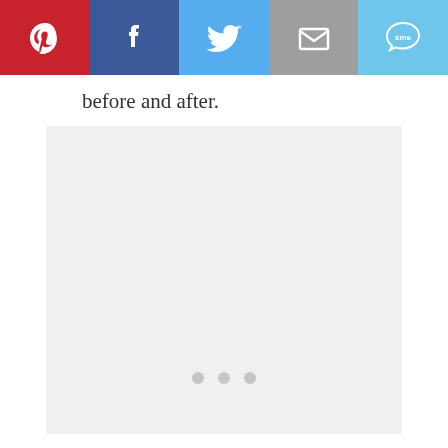[Figure (infographic): Social sharing bar with five buttons: Pinterest (red), Facebook (dark blue), Twitter (light blue), Email/envelope (gray), SMS speech bubble (light blue)]
before and after.
[Figure (photo): Large light gray placeholder image area with three small gray dots centered near the bottom, indicating a loading or slider indicator]